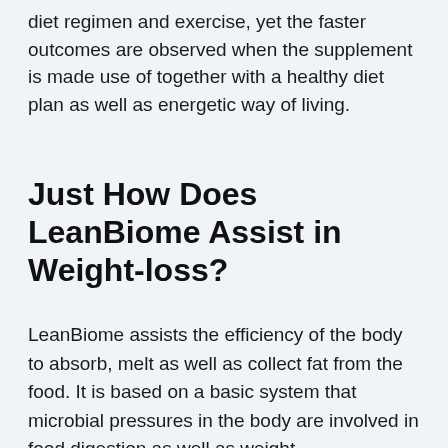diet regimen and exercise, yet the faster outcomes are observed when the supplement is made use of together with a healthy diet plan as well as energetic way of living.
Just How Does LeanBiome Assist in Weight-loss?
LeanBiome assists the efficiency of the body to absorb, melt as well as collect fat from the food. It is based on a basic system that microbial pressures in the body are involved in food digestion as well as weight administration. Diet plan tablets are frequently considered as harmful and also dangerous, which is true when you are choosing an artificial item. If you are using a